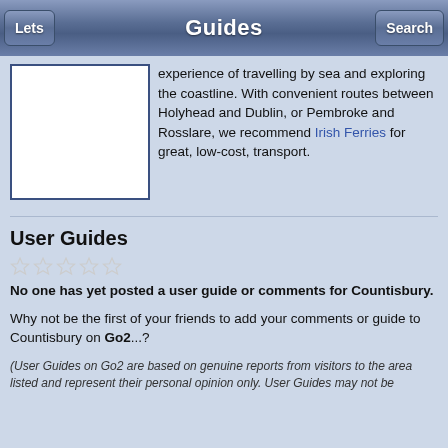Guides
[Figure (photo): White image placeholder with blue border]
experience of travelling by sea and exploring the coastline. With convenient routes between Holyhead and Dublin, or Pembroke and Rosslare, we recommend Irish Ferries for great, low-cost, transport.
User Guides
[Figure (other): Five empty star rating icons]
No one has yet posted a user guide or comments for Countisbury.
Why not be the first of your friends to add your comments or guide to Countisbury on Go2...?
(User Guides on Go2 are based on genuine reports from visitors to the area listed and represent their personal opinion only. User Guides may not be